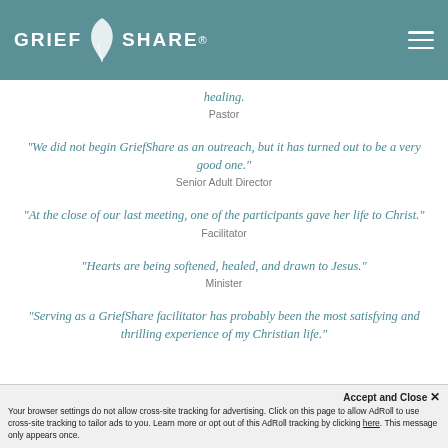GriefShare
healing. Pastor
“We did not begin GriefShare as an outreach, but it has turned out to be a very good one.” Senior Adult Director
“At the close of our last meeting, one of the participants gave her life to Christ.” Facilitator
“Hearts are being softened, healed, and drawn to Jesus.” Minister
“Serving as a GriefShare facilitator has probably been the most satisfying and thrilling experience of my Christian life.” Facilitator
Your browser settings do not allow cross-site tracking for advertising. Click on this page to allow AdRoll to use cross-site tracking to tailor ads to you. Learn more or opt out of this AdRoll tracking by clicking here. This message only appears once.